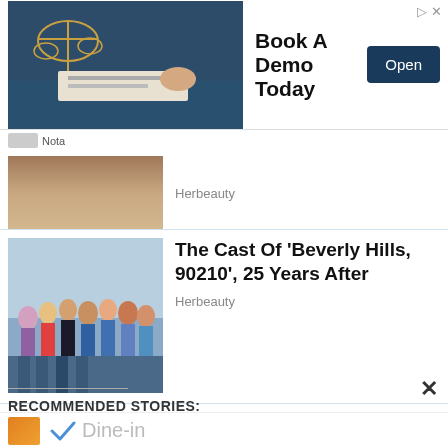[Figure (screenshot): Advertisement banner: legal/court image on left, 'Book A Demo Today' text in center, 'Open' button on right]
Nota
[Figure (photo): Partial photo of people (top article)]
Herbeauty
[Figure (photo): Group photo of the cast of Beverly Hills 90210]
The Cast Of 'Beverly Hills, 90210', 25 Years After
Herbeauty
Pregnant? How Almost Every One Of Your Bodily Systems Changes
Herbeauty
RECOMMENDED STORIES:
[Figure (logo): Dine-in logo and branding strip at bottom]